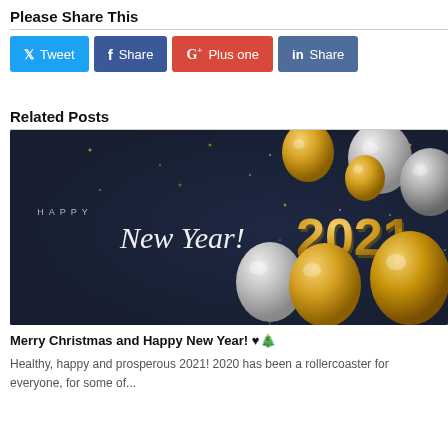Please Share This
[Figure (other): Social share buttons: Tweet (Twitter/blue), Share (Facebook/dark blue), Plus one (Google+/red), Share (LinkedIn/blue)]
Related Posts
[Figure (photo): Happy New Year 2021 banner image with gold and silver balloons on dark navy background, text reads HAPPY New Year! and 2021 in gold 3D numbers]
Merry Christmas and Happy New Year! ♥🎄
Healthy, happy and prosperous 2021! 2020 has been a rollercoaster for everyone, for some of...